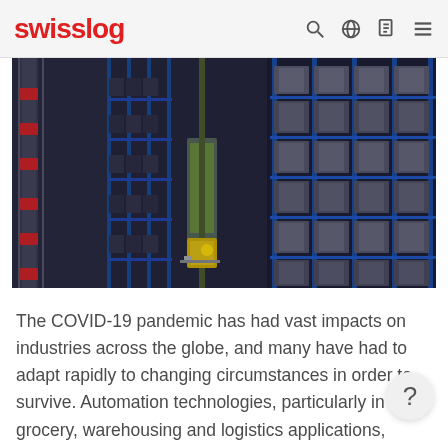swisslog
[Figure (photo): Interior of a large automated warehouse showing tall blue metal shelving racks filled with grey storage bins, with automated stacker cranes and conveyor systems visible in the aisles.]
The COVID-19 pandemic has had vast impacts on industries across the globe, and many have had to adapt rapidly to changing circumstances in order to survive. Automation technologies, particularly in grocery, warehousing and logistics applications, have suddenly become even more valuable, as they can provide essential services without risk of spreading the virus